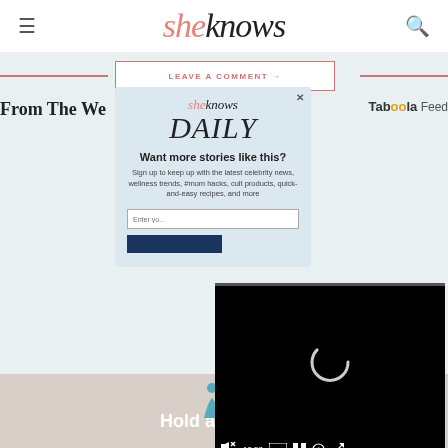sheknows
LEAVE A COMMENT →
From The We...
Taboola Feed
[Figure (screenshot): SheKnows Daily newsletter signup modal popup with logo, DAILY heading, 'Want more stories like this?' headline, sign-up text about celebrity news, wellness trends, mom hacks, cult products, quick-and-easy recipes, email input field and sign-up button]
[Figure (screenshot): Video player overlay showing black background with loading spinner and video controls bar at bottom showing mute icon, 13:52 timestamp, CC button, grid button, settings gear, and fullscreen button]
[Figure (screenshot): Advertisement banner at bottom showing two blue figures and text 'Hold and Move' with close (X) and info (?) buttons]